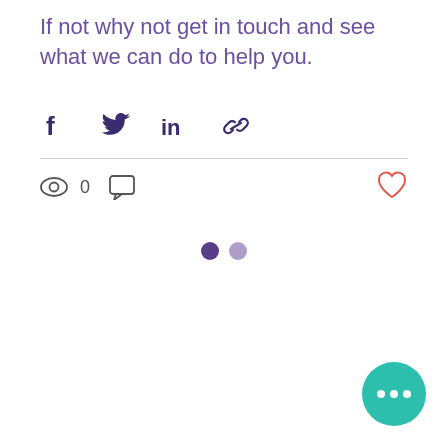If not why not get in touch and see what we can do to help you.
[Figure (infographic): Social share icons row: Facebook, Twitter, LinkedIn, Link/chain icons in dark purple]
[Figure (infographic): Engagement row with eye/views icon showing 0, comment bubble icon, and heart/like icon (outlined, red-orange) on far right]
[Figure (infographic): Two pagination dots: one dark purple (active), one light purple (inactive)]
[Figure (infographic): Floating action button (FAB) - teal/green circle with three white dots (ellipsis menu) in bottom right corner]